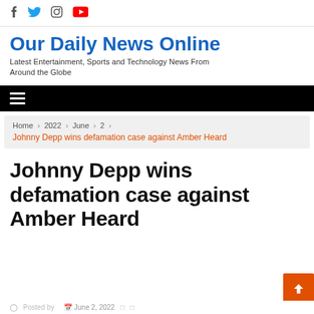Social media icons: Facebook, Twitter, Instagram, YouTube
Our Daily News Online
Latest Entertainment, Sports and Technology News From Around the Globe
[Figure (other): Black navigation bar with hamburger menu icon]
Home > 2022 > June > 2 > Johnny Depp wins defamation case against Amber Heard
Johnny Depp wins defamation case against Amber Heard